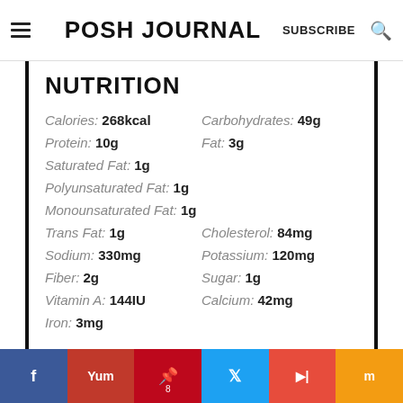POSH JOURNAL SUBSCRIBE
NUTRITION
Calories: 268kcal | Carbohydrates: 49g | Protein: 10g | Fat: 3g | Saturated Fat: 1g | Polyunsaturated Fat: 1g | Monounsaturated Fat: 1g | Trans Fat: 1g | Cholesterol: 84mg | Sodium: 330mg | Potassium: 120mg | Fiber: 2g | Sugar: 1g | Vitamin A: 144IU | Calcium: 42mg | Iron: 3mg
f Yum P 8 t F m